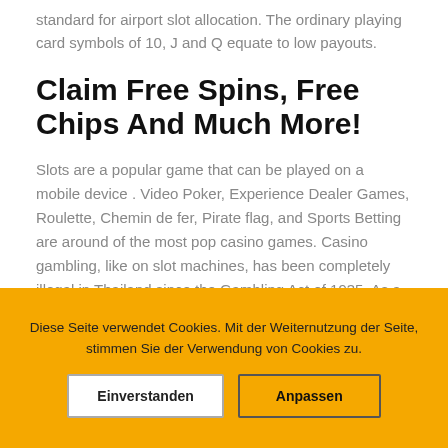standard for airport slot allocation. The ordinary playing card symbols of 10, J and Q equate to low payouts.
Claim Free Spins, Free Chips And Much More!
Slots are a popular game that can be played on a mobile device . Video Poker, Experience Dealer Games, Roulette, Chemin de fer, Pirate flag, and Sports Betting are around of the most pop casino games. Casino gambling, like on slot machines, has been completely illegal in Thailand since the Gambling Act of 1935. As a
Diese Seite verwendet Cookies. Mit der Weiternutzung der Seite, stimmen Sie der Verwendung von Cookies zu.